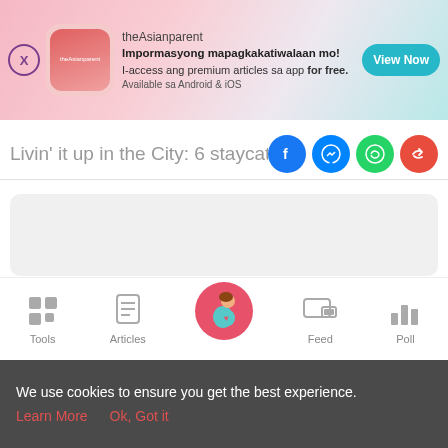[Figure (screenshot): theAsianparent app advertisement banner with pink gradient background, app logo, text in Filipino language, and a teal 'View Now' button]
Livin' it up in the City: 6 staycation de
[Figure (screenshot): Social sharing icons: Facebook (blue circle), Messenger (blue circle), WhatsApp (green circle), Share (red circle)]
[Figure (screenshot): Gray placeholder content box]
[Figure (screenshot): White card with gray inner placeholder content box]
[Figure (screenshot): Bottom navigation bar with Tools, Articles, home (pregnant woman icon in pink circle), Feed, and Poll icons]
We use cookies to ensure you get the best experience.
Learn More   Ok, Got it